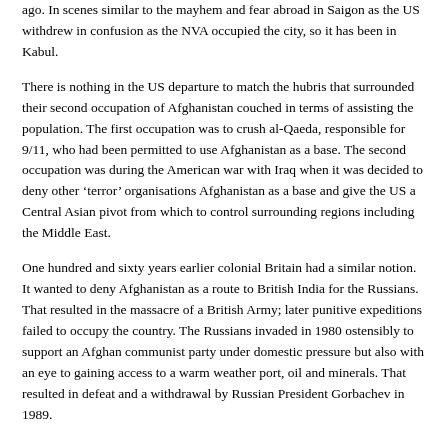ago. In scenes similar to the mayhem and fear abroad in Saigon as the US withdrew in confusion as the NVA occupied the city, so it has been in Kabul.
There is nothing in the US departure to match the hubris that surrounded their second occupation of Afghanistan couched in terms of assisting the population. The first occupation was to crush al-Qaeda, responsible for 9/11, who had been permitted to use Afghanistan as a base. The second occupation was during the American war with Iraq when it was decided to deny other ‘terror’ organisations Afghanistan as a base and give the US a Central Asian pivot from which to control surrounding regions including the Middle East.
One hundred and sixty years earlier colonial Britain had a similar notion. It wanted to deny Afghanistan as a route to British India for the Russians. That resulted in the massacre of a British Army; later punitive expeditions failed to occupy the country. The Russians invaded in 1980 ostensibly to support an Afghan communist party under domestic pressure but also with an eye to gaining access to a warm weather port, oil and minerals. That resulted in defeat and a withdrawal by Russian President Gorbachev in 1989.